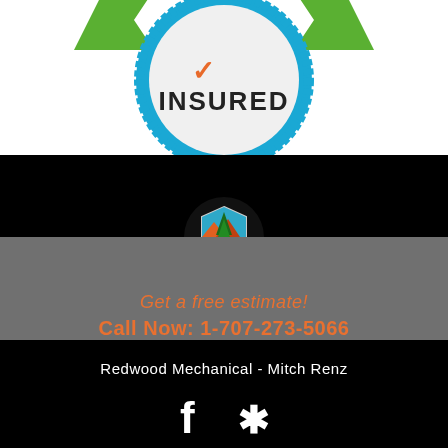[Figure (logo): Insured badge seal with blue serrated border, checkmark, and text INSURED]
[Figure (logo): Redwood Mechanical circular logo with tree, mountains, and shield design on black circle]
Get a free estimate!
Call Now: 1-707-273-5066
Redwood Mechanical - Mitch Renz
[Figure (logo): Facebook and Yelp social media icons in white]